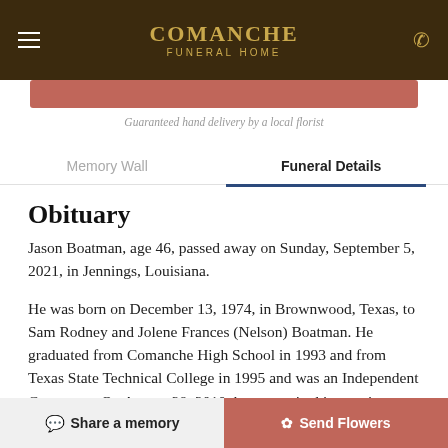COMANCHE FUNERAL HOME
Guaranteed hand delivery by a local florist
Memory Wall | Funeral Details
Obituary
Jason Boatman, age 46, passed away on Sunday, September 5, 2021, in Jennings, Louisiana.
He was born on December 13, 1974, in Brownwood, Texas, to Sam Rodney and Jolene Frances (Nelson) Boatman. He graduated from Comanche High School in 1993 and from Texas State Technical College in 1995 and was an Independent Contractor. On August 28, 2010, he was united in marriage to Ana Castillo in Abilene. Jason was devoted to his wife and family and
Share a memory | Send Flowers